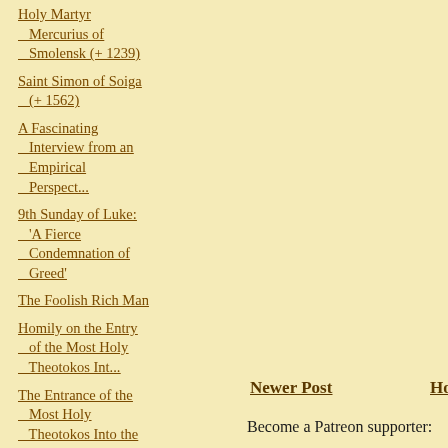Holy Martyr Mercurius of Smolensk (+ 1239)
Saint Simon of Soiga (+ 1562)
A Fascinating Interview from an Empirical Perspect...
9th Sunday of Luke: 'A Fierce Condemnation of Greed'
The Foolish Rich Man
Homily on the Entry of the Most Holy Theotokos Int...
The Entrance of the Most Holy Theotokos Into the T...
The Entrance of the Theotokos as a
Newer Post
Ho
Become a Patreon supporter: